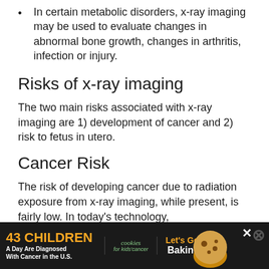In certain metabolic disorders, x-ray imaging may be used to evaluate changes in abnormal bone growth, changes in arthritis, infection or injury.
Risks of x-ray imaging
The two main risks associated with x-ray imaging are 1) development of cancer and 2) risk to fetus in utero.
Cancer Risk
The risk of developing cancer due to radiation exposure from x-ray imaging, while present, is fairly low. In today's technology, s... n... at
[Figure (other): Advertisement banner: '43 CHILDREN A Day Are Diagnosed With Cancer in the U.S.' with cookies for kids' cancer logo and 'Let's Get Baking' text, dark background with orange and white text.]